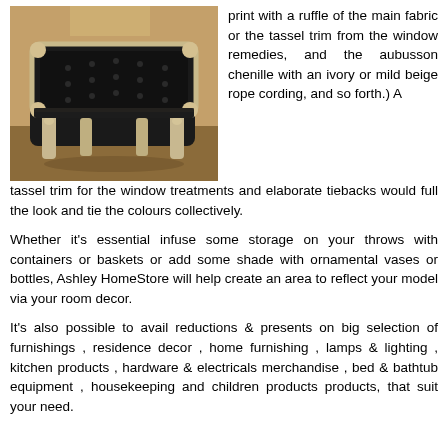[Figure (photo): A dark-cushioned ornate vintage/baroque-style footstool or ottoman with silver/gold carved wooden legs, photographed indoors.]
print with a ruffle of the main fabric or the tassel trim from the window remedies, and the aubusson chenille with an ivory or mild beige rope cording, and so forth.) A tassel trim for the window treatments and elaborate tiebacks would full the look and tie the colours collectively.
Whether it's essential infuse some storage on your throws with containers or baskets or add some shade with ornamental vases or bottles, Ashley HomeStore will help create an area to reflect your model via your room decor.
It's also possible to avail reductions & presents on big selection of furnishings , residence decor , home furnishing , lamps & lighting , kitchen products , hardware & electricals merchandise , bed & bathtub equipment , housekeeping and children products products, that suit your need.